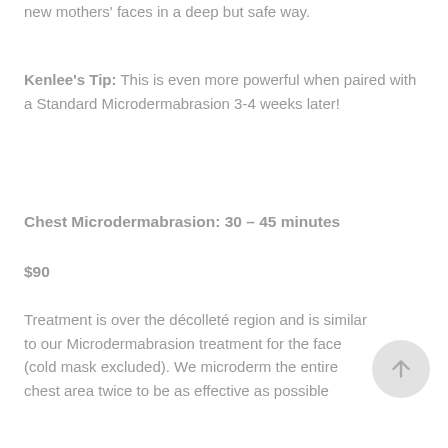new mothers' faces in a deep but safe way.
Kenlee's Tip: This is even more powerful when paired with a Standard Microdermabrasion 3-4 weeks later!
Chest Microdermabrasion: 30 – 45 minutes
$90
Treatment is over the décolleté region and is similar to our Microdermabrasion treatment for the face (cold mask excluded). We microderm the entire chest area twice to be as effective as possible